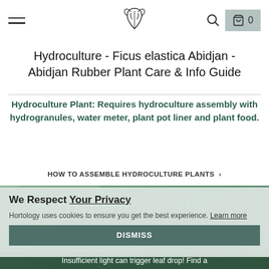Hydroculture - Ficus elastica Abidjan - Abidjan Rubber Plant Care & Info Guide (navigation bar with hamburger menu, plant logo, search and cart icons)
Hydroculture - Ficus elastica Abidjan - Abidjan Rubber Plant Care & Info Guide
Hydroculture Plant: Requires hydroculture assembly with hydrogranules, water meter, plant pot liner and plant food.
HOW TO ASSEMBLE HYDROCULTURE PLANTS >
[Figure (photo): Green Ficus elastica leaves background image with overlaid text and privacy cookie consent modal]
We Respect Your Privacy
Hortology uses cookies to ensure you get the best experience. Learn more
DISMISS
YOUR HIGHPOINTS
Ficus elastica can grow up to 30ft tall. When desired height is achieved, simply cut the top off.
Insufficient light can trigger leaf drop! Find a